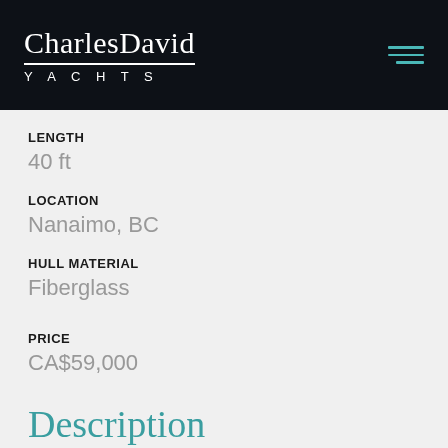CharlesDavid YACHTS
LENGTH
40 ft
LOCATION
Nanaimo, BC
HULL MATERIAL
Fiberglass
PRICE
CA$59,000
Description